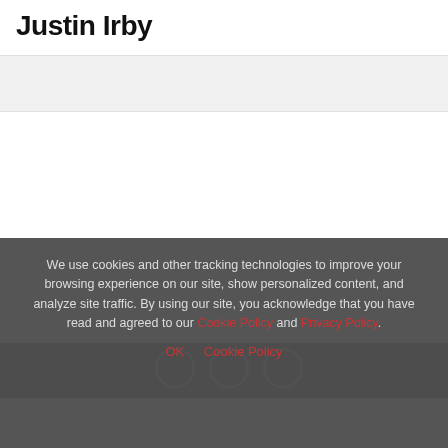Justin Irby
We use cookies and other tracking technologies to improve your browsing experience on our site, show personalized content, and analyze site traffic. By using our site, you acknowledge that you have read and agreed to our Cookie Policy and Privacy Policy.
OK   Cookie Policy